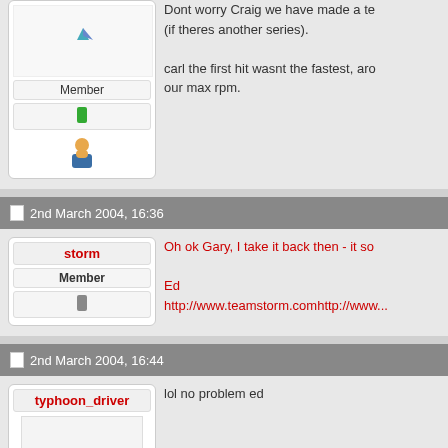[Figure (screenshot): Top of a forum post (partially visible): user card with avatar (top cut off), Member label, green status bar, user icon. Post content reads: 'Dont worry Craig we have made a te... (if theres another series). carl the first hit wasnt the fastest, aro... our max rpm.']
Dont worry Craig we have made a te (if theres another series).

carl the first hit wasnt the fastest, aro our max rpm.
2nd March 2004, 16:36
storm
Member
Oh ok Gary, I take it back then - it so

Ed
http://www.teamstorm.comhttp://www...
2nd March 2004, 16:44
typhoon_driver
lol no problem ed